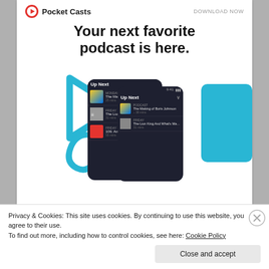Pocket Casts   DOWNLOAD NOW
Your next favorite podcast is here.
[Figure (screenshot): Pocket Casts app advertisement showing two phone mockups with 'Up Next' queue screens, blue decorative play button triangle and swirl shapes on white background]
REPORT THIS AD
SHARE THIS:
[Figure (illustration): Twitter and Facebook share icon buttons (circular, blue)]
Privacy & Cookies: This site uses cookies. By continuing to use this website, you agree to their use.
To find out more, including how to control cookies, see here: Cookie Policy